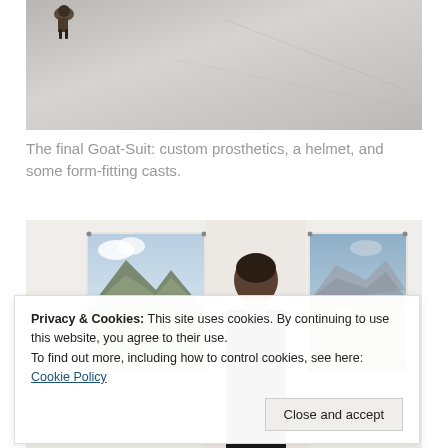[Figure (photo): Top portion of a photo showing what appears to be a goat suit or prosthetics on a light grey/white surface, viewed from above. A small dark figure is visible in the upper left area.]
The final Goat-Suit: custom prosthetics, a helmet, and some form-fitting casts.
[Figure (photo): A gallery or exhibition space showing photographs of goats and mountain landscapes mounted on white panels. A person (seen from behind/side) is standing in the middle looking at the photographs.]
Privacy & Cookies: This site uses cookies. By continuing to use this website, you agree to their use.
To find out more, including how to control cookies, see here: Cookie Policy
Close and accept